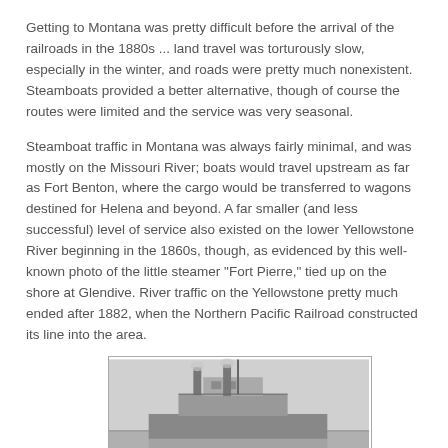Getting to Montana was pretty difficult before the arrival of the railroads in the 1880s ... land travel was torturously slow, especially in the winter, and roads were pretty much nonexistent. Steamboats provided a better alternative, though of course the routes were limited and the service was very seasonal.
Steamboat traffic in Montana was always fairly minimal, and was mostly on the Missouri River; boats would travel upstream as far as Fort Benton, where the cargo would be transferred to wagons destined for Helena and beyond. A far smaller (and less successful) level of service also existed on the lower Yellowstone River beginning in the 1860s, though, as evidenced by this well-known photo of the little steamer "Fort Pierre," tied up on the shore at Glendive. River traffic on the Yellowstone pretty much ended after 1882, when the Northern Pacific Railroad constructed its line into the area.
[Figure (photo): Black and white historical photograph of the steamboat 'Fort Pierre' tied up on the shore at Glendive, showing the vessel's wheelhouse and deck structure.]